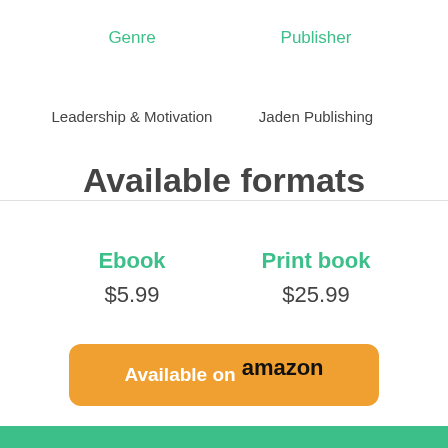Genre
Publisher
Leadership & Motivation
Jaden Publishing
Available formats
Ebook
$5.99
Print book
$25.99
Available on amazon